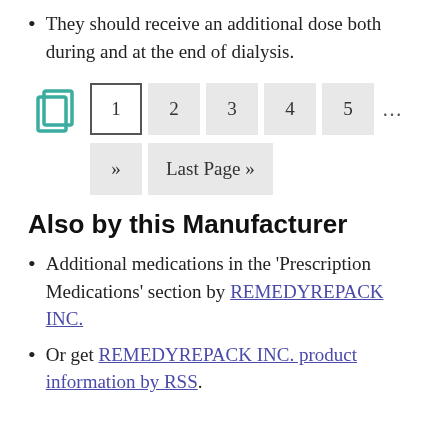They should receive an additional dose both during and at the end of dialysis.
[Figure (other): Pagination control showing page icon, page buttons 1 (active), 2, 3, 4, 5, ellipsis, and a second row with next (») and Last Page » buttons.]
Also by this Manufacturer
Additional medications in the 'Prescription Medications' section by REMEDYREPACK INC.
Or get REMEDYREPACK INC. product information by RSS.